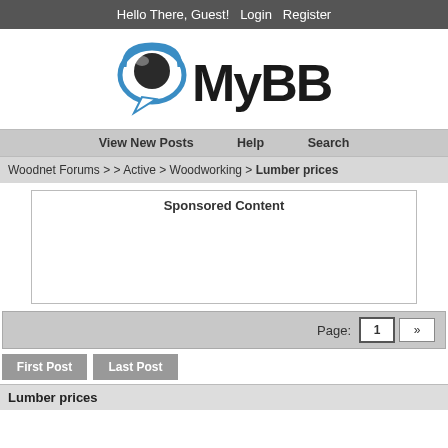Hello There, Guest!  Login  Register
[Figure (logo): MyBB forum software logo with speech bubble icon and 'MyBB' text]
View New Posts  Help  Search
Woodnet Forums >> Active > Woodworking > Lumber prices
Sponsored Content
Page: 1 »
First Post   Last Post
Lumber prices